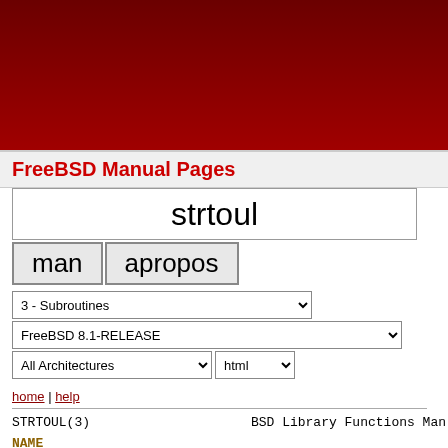[Figure (other): Dark red/maroon banner at the top of the FreeBSD manual pages website]
FreeBSD Manual Pages
strtoul
man  apropos
3 - Subroutines
FreeBSD 8.1-RELEASE
All Architectures   html
home | help
STRTOUL(3)   BSD Library Functions Man
NAME
strtoul, strtoull, strtoumax, strtouq -- conv long, unsigned long long, uintmax_t, or u_qua